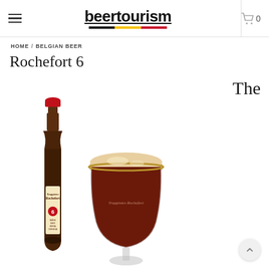beertourism
HOME / BELGIAN BEER
Rochefort 6
The
[Figure (photo): Product photo of Trappistes Rochefort 6 beer: a dark brown bottle with red cap and cream label reading 'Trappistes Rochefort 6 Bière Bier Birra Cerveza', alongside a filled goblet/chalice glass with the Trappistes Rochefort logo, containing dark ruby beer with a tan foam head.]